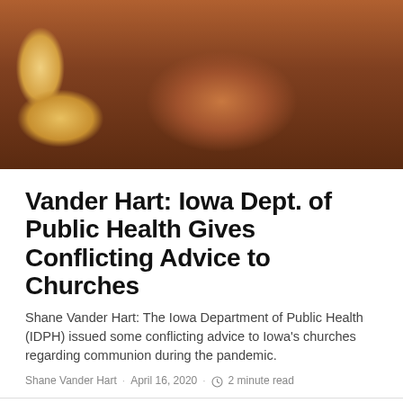[Figure (photo): Close-up photo of a loaf of bread on a wooden surface with warm candlelight in the background, suggesting a communion or religious setting.]
Vander Hart: Iowa Dept. of Public Health Gives Conflicting Advice to Churches
Shane Vander Hart: The Iowa Department of Public Health (IDPH) issued some conflicting advice to Iowa's churches regarding communion during the pandemic.
Shane Vander Hart · April 16, 2020 · 2 minute read
[Figure (photo): Bottom thumbnail image showing a political campaign scene with text 'JACOBS', 'JOBS', and badges labeled 'Election Central' and 'Iowa Politics'.]